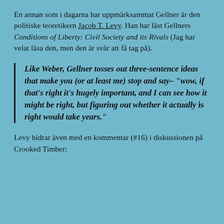En annan som i dagarna har uppmärksammat Gellner är den politiske teoretikern Jacob T. Levy. Han har läst Gellners Conditions of Liberty: Civil Society and its Rivals (Jag har velat läsa den, men den är svår att få tag på).
Like Weber, Gellner tosses out three-sentence ideas that make you (or at least me) stop and say– "wow, if that's right it's hugely important, and I can see how it might be right, but figuring out whether it actually is right would take years."
Levy bidrar även med en kommentar (#16) i diskussionen på Crooked Timber: